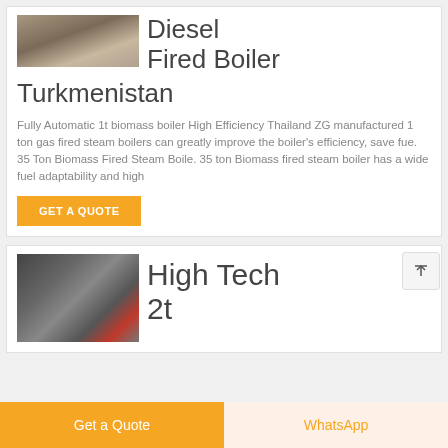[Figure (photo): Outdoor ground/industrial area photo - partial view at top]
Diesel Fired Boiler Turkmenistan
Fully Automatic 1t biomass boiler High Efficiency Thailand ZG manufactured 1 ton gas fired steam boilers can greatly improve the boiler's efficiency, save fue. 35 Ton Biomass Fired Steam Boile. 35 ton Biomass fired steam boiler has a wide fuel adaptability and high
[Figure (photo): Industrial boiler room with large cylindrical boiler, pipes, and red components]
High Tech 2t